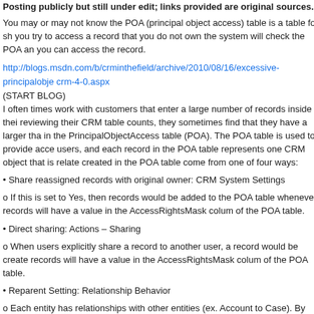Posting publicly but still under edit; links provided are original sources.
You may or may not know the POA (principal object access) table is a table for sh... you try to access a record that you do not own the system will check the POA an... you can access the record.
http://blogs.msdn.com/b/crminthefield/archive/2010/08/16/excessive-principalobje... crm-4-0.aspx
(START BLOG)
I often times work with customers that enter a large number of records inside thei... reviewing their CRM table counts, they sometimes find that they have a larger tha... in the PrincipalObjectAccess table (POA). The POA table is used to provide acce... users, and each record in the POA table represents one CRM object that is relate... created in the POA table come from one of four ways:
• Share reassigned records with original owner: CRM System Settings
o If this is set to Yes, then records would be added to the POA table whenever a... records will have a value in the AccessRightsMask colum of the POA table.
• Direct sharing: Actions – Sharing
o When users explicitly share a record to another user, a record would be create... records will have a value in the AccessRightsMask colum of the POA table.
• Reparent Setting: Relationship Behavior
o Each entity has relationships with other entities (ex. Account to Case). By defau... Cascade All. With this setting, sub records would be shared to the owner of the p... say that User1 owns Account1, User2 has access to Account1 and creates a ca...